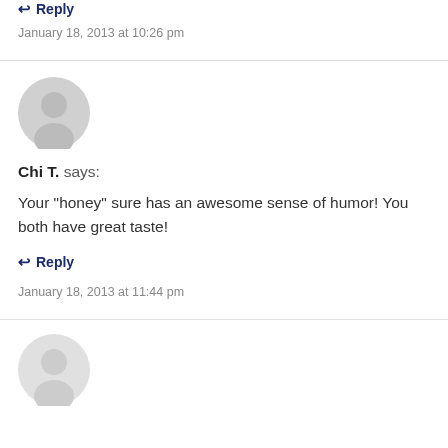January 18, 2013 at 10:26 pm
[Figure (illustration): Grey default avatar icon (circle head, circle body silhouette)]
Chi T. says:
Your "honey" sure has an awesome sense of humor! You both have great taste!
↩ Reply
January 18, 2013 at 11:44 pm
[Figure (illustration): Grey default avatar icon (circle head, circle body silhouette), partially visible at bottom]